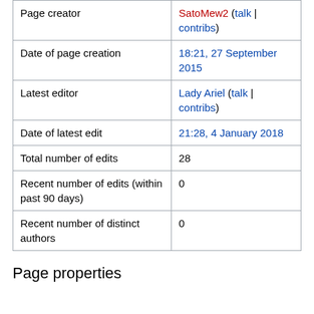|  |  |
| --- | --- |
| Page creator | SatoMew2 (talk | contribs) |
| Date of page creation | 18:21, 27 September 2015 |
| Latest editor | Lady Ariel (talk | contribs) |
| Date of latest edit | 21:28, 4 January 2018 |
| Total number of edits | 28 |
| Recent number of edits (within past 90 days) | 0 |
| Recent number of distinct authors | 0 |
Page properties